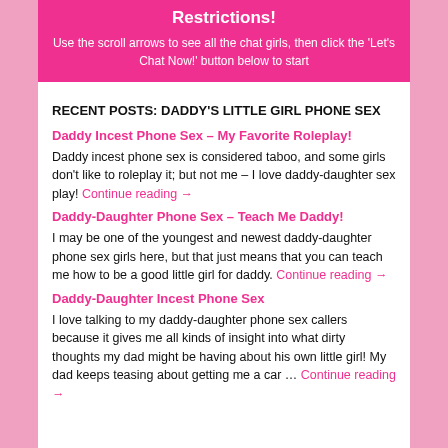[Figure (other): Pink banner with white text: 'Restrictions!' and instructional text about scroll arrows and chat girls]
RECENT POSTS: DADDY'S LITTLE GIRL PHONE SEX
Daddy Incest Phone Sex – My Favorite Roleplay!
Daddy incest phone sex is considered taboo, and some girls don't like to roleplay it; but not me – I love daddy-daughter sex play! Continue reading →
Daddy-Daughter Phone Sex – Teach Me Daddy!
I may be one of the youngest and newest daddy-daughter phone sex girls here, but that just means that you can teach me how to be a good little girl for daddy. Continue reading →
Daddy-Daughter Incest Phone Sex
I love talking to my daddy-daughter phone sex callers because it gives me all kinds of insight into what dirty thoughts my dad might be having about his own little girl! My dad keeps teasing about getting me a car … Continue reading →